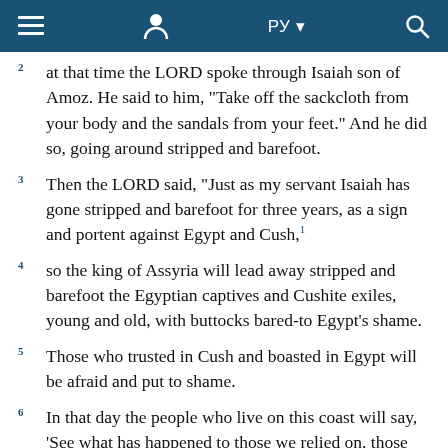≡  person-icon  РУ ▾  search-icon
2  at that time the LORD spoke through Isaiah son of Amoz. He said to him, "Take off the sackcloth from your body and the sandals from your feet." And he did so, going around stripped and barefoot.
3  Then the LORD said, "Just as my servant Isaiah has gone stripped and barefoot for three years, as a sign and portent against Egypt and Cush,1
4  so the king of Assyria will lead away stripped and barefoot the Egyptian captives and Cushite exiles, young and old, with buttocks bared-to Egypt's shame.
5  Those who trusted in Cush and boasted in Egypt will be afraid and put to shame.
6  In that day the people who live on this coast will say, 'See what has happened to those we relied on, those we fled to for help and deliverance from the king of Assyria! How then can we escape?' "